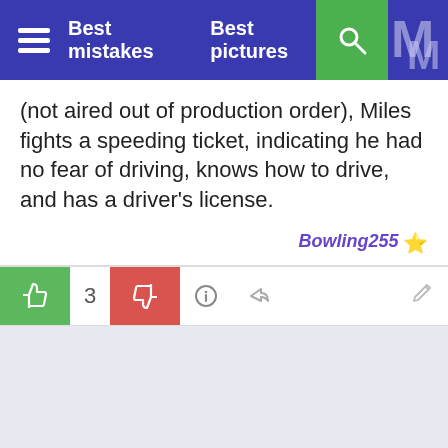Best mistakes   Best pictures
(not aired out of production order), Miles fights a speeding ticket, indicating he had no fear of driving, knows how to drive, and has a driver's license.
Bowling255 ⭐
[Figure (screenshot): Action bar with upvote button (green thumbs up), vote count 3, downvote button (red thumbs down), info icon, share icon, and edit icon]